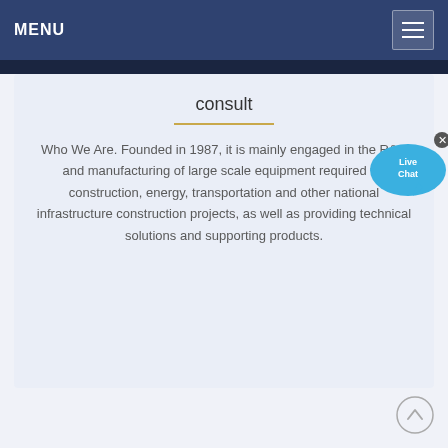MENU
consult
Who We Are. Founded in 1987, it is mainly engaged in the R&D and manufacturing of large scale equipment required for construction, energy, transportation and other national infrastructure construction projects, as well as providing technical solutions and supporting products.
[Figure (other): Live Chat button widget - blue speech bubble with 'Live Chat' text and a close button]